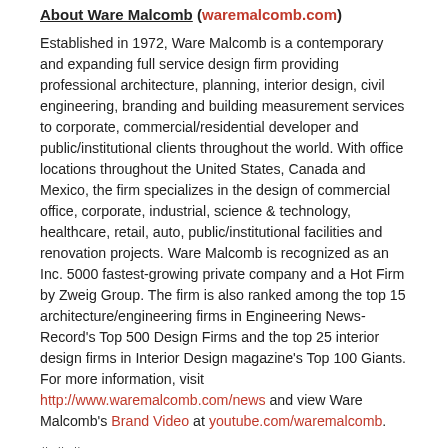About Ware Malcomb (waremalcomb.com)
Established in 1972, Ware Malcomb is a contemporary and expanding full service design firm providing professional architecture, planning, interior design, civil engineering, branding and building measurement services to corporate, commercial/residential developer and public/institutional clients throughout the world. With office locations throughout the United States, Canada and Mexico, the firm specializes in the design of commercial office, corporate, industrial, science & technology, healthcare, retail, auto, public/institutional facilities and renovation projects. Ware Malcomb is recognized as an Inc. 5000 fastest-growing private company and a Hot Firm by Zweig Group. The firm is also ranked among the top 15 architecture/engineering firms in Engineering News-Record's Top 500 Design Firms and the top 25 interior design firms in Interior Design magazine's Top 100 Giants. For more information, visit http://www.waremalcomb.com/news and view Ware Malcomb's Brand Video at youtube.com/waremalcomb.
# # #
Ware Malcomb Chicago
500 W. Madison St. #1000